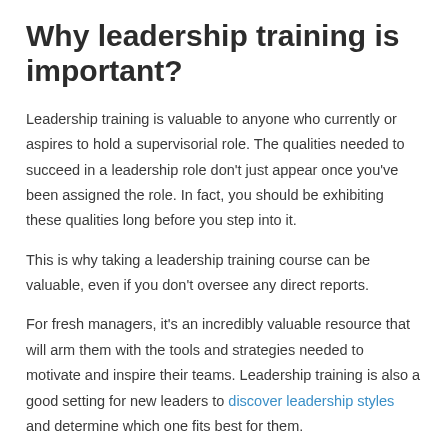Why leadership training is important?
Leadership training is valuable to anyone who currently or aspires to hold a supervisorial role. The qualities needed to succeed in a leadership role don't just appear once you've been assigned the role. In fact, you should be exhibiting these qualities long before you step into it.
This is why taking a leadership training course can be valuable, even if you don't oversee any direct reports.
For fresh managers, it's an incredibly valuable resource that will arm them with the tools and strategies needed to motivate and inspire their teams. Leadership training is also a good setting for new leaders to discover leadership styles and determine which one fits best for them.